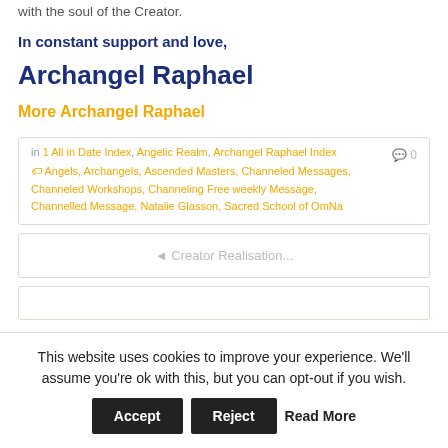with the soul of the Creator.
In constant support and love,
Archangel Raphael
More Archangel Raphael
in 1 All in Date Index, Angelic Realm, Archangel Raphael Index
Angels, Archangels, Ascended Masters, Channeled Messages, Channeled Workshops, Channeling Free weekly Message, Channelled Message, Natalie Glasson, Sacred School of OmNa
◄ Creator Realisation...
This website uses cookies to improve your experience. We'll assume you're ok with this, but you can opt-out if you wish. Accept Reject Read More